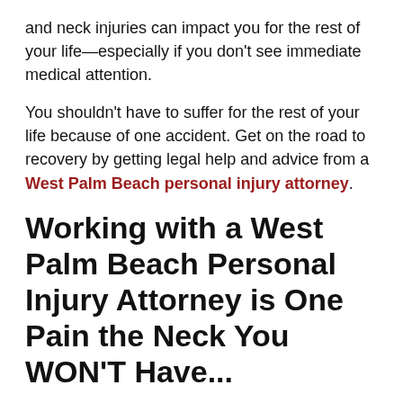and neck injuries can impact you for the rest of your life—especially if you don't see immediate medical attention.
You shouldn't have to suffer for the rest of your life because of one accident. Get on the road to recovery by getting legal help and advice from a West Palm Beach personal injury attorney.
Working with a West Palm Beach Personal Injury Attorney is One Pain the Neck You WON'T Have...
If you were injured in a car accident and sustained any kind of injuries, then contact a West Palm Beach